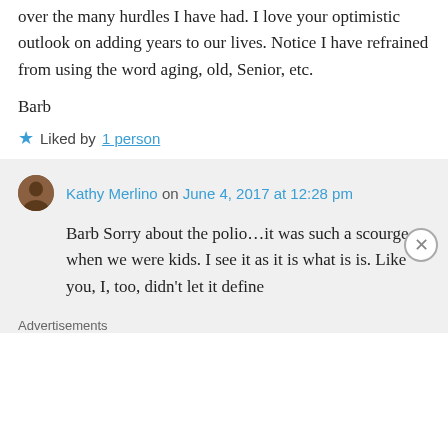over the many hurdles I have had. I love your optimistic outlook on adding years to our lives. Notice I have refrained from using the word aging, old, Senior, etc.
Barb
★ Liked by 1 person
Kathy Merlino on June 4, 2017 at 12:28 pm
Barb Sorry about the polio…it was such a scourge when we were kids. I see it as it is what is is. Like you, I, too, didn't let it define
Advertisements